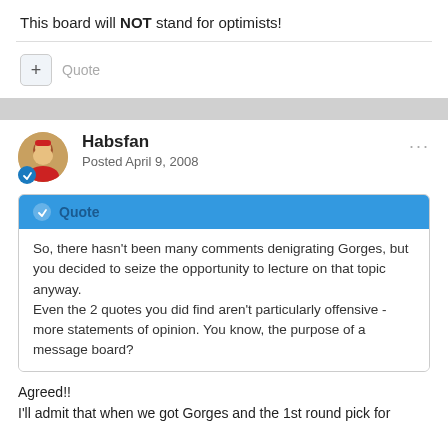This board will NOT stand for optimists!
Quote
Habsfan
Posted April 9, 2008
Quote
So, there hasn't been many comments denigrating Gorges, but you decided to seize the opportunity to lecture on that topic anyway.
Even the 2 quotes you did find aren't particularly offensive - more statements of opinion. You know, the purpose of a message board?
Agreed!!
I'll admit that when we got Gorges and the 1st round pick for